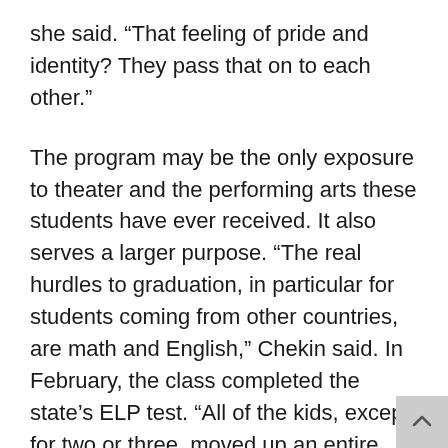she said. “That feeling of pride and identity? They pass that on to each other.”
The program may be the only exposure to theater and the performing arts these students have ever received. It also serves a larger purpose. “The real hurdles to graduation, in particular for students coming from other countries, are math and English,” Chekin said. In February, the class completed the state’s ELP test. “All of the kids, except for two or three, moved up an entire level, if not higher,” she said. One student later became a certified lights technician. Another became a student